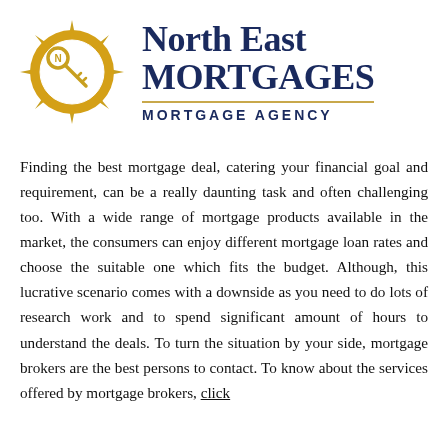[Figure (logo): North East Mortgages logo: golden sun/star shape with a white circle containing a key with the letter N on it, beside the text 'North East MORTGAGES' in dark navy blue with 'MORTGAGE AGENCY' below a gold horizontal rule]
Finding the best mortgage deal, catering your financial goal and requirement, can be a really daunting task and often challenging too. With a wide range of mortgage products available in the market, the consumers can enjoy different mortgage loan rates and choose the suitable one which fits the budget. Although, this lucrative scenario comes with a downside as you need to do lots of research work and to spend significant amount of hours to understand the deals. To turn the situation by your side, mortgage brokers are the best persons to contact. To know about the services offered by mortgage brokers, click